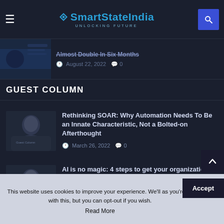SmartStateIndia – UNLOCKING FUTURE
Almost Double In Six Months – August 22, 2022  0
GUEST COLUMN
Rethinking SOAR: Why Automation Needs To Be an Innate Characteristic, Not a Bolted-on Afterthought
March 26, 2022  0
AI is no magic: 4 steps to get your organization started on its AI journey
June 13, 2020  0
This website uses cookies to improve your experience. We'll as you're ok with this, but you can opt-out if you wish.
Read More